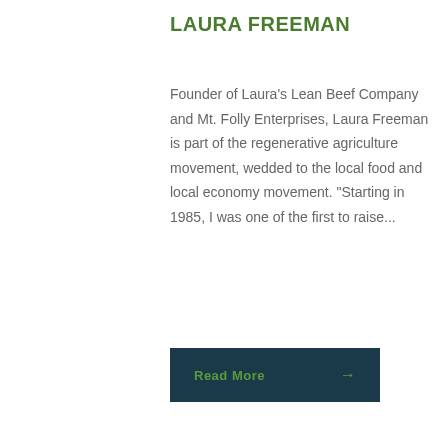LAURA FREEMAN
Founder of Laura's Lean Beef Company and Mt. Folly Enterprises, Laura Freeman is part of the regenerative agriculture movement, wedded to the local food and local economy movement. “Starting in 1985, I was one of the first to raise...
Read More →
[Figure (photo): Partial bottom image showing a person wearing a striped garment, cropped at page bottom. A circular logo element is partially visible at far right.]